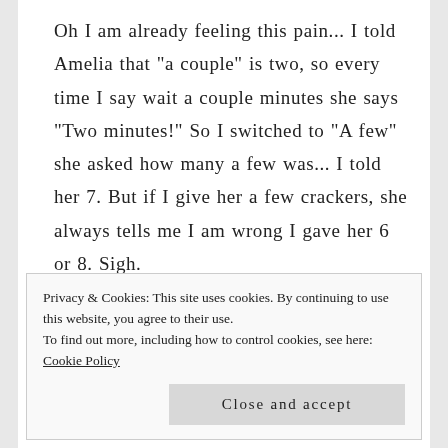Oh I am already feeling this pain... I told Amelia that "a couple" is two, so every time I say wait a couple minutes she says "Two minutes!" So I switched to "A few" she asked how many a few was... I told her 7. But if I give her a few crackers, she always tells me I am wrong I gave her 6 or 8. Sigh.
Privacy & Cookies: This site uses cookies. By continuing to use this website, you agree to their use.
To find out more, including how to control cookies, see here: Cookie Policy
Close and accept